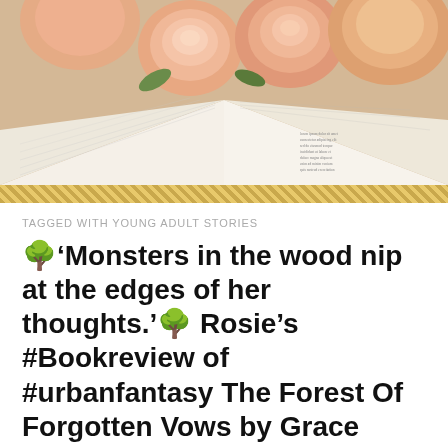[Figure (photo): Open book with peach/salmon roses resting on top of the pages, photographed from above at an angle. Warm tones, softly lit.]
TAGGED WITH YOUNG ADULT STORIES
🌳'Monsters in the wood nip at the edges of her thoughts.'🌳 Rosie's #Bookreview of #urbanfantasy The Forest Of Forgotten Vows by Grace Carlisle.
[Figure (photo): Forest scene with tall trees and light filtering through, possibly a figure visible in the background.]